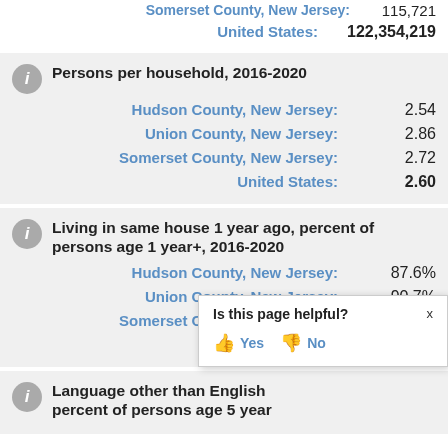Somerset County, New Jersey: 115,721
United States: 122,354,219
Persons per household, 2016-2020
Hudson County, New Jersey: 2.54
Union County, New Jersey: 2.86
Somerset County, New Jersey: 2.72
United States: 2.60
Living in same house 1 year ago, percent of persons age 1 year+, 2016-2020
Hudson County, New Jersey: 87.6%
Union County, New Jersey: 90.7%
Somerset County, New Jersey: 90.2%
United States: 86.2%
Language other than English percent of persons age 5 year
Is this page helpful? Yes No